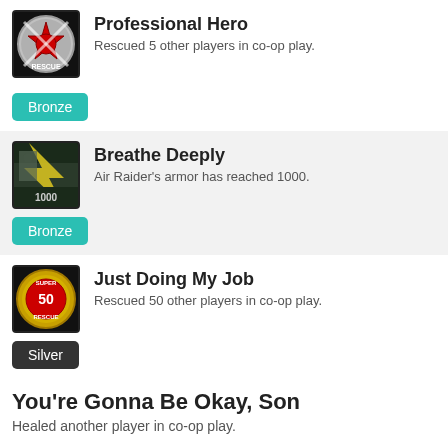Professional Hero
Rescued 5 other players in co-op play.
Bronze
Breathe Deeply
Air Raider's armor has reached 1000.
Bronze
Just Doing My Job
Rescued 50 other players in co-op play.
Silver
You're Gonna Be Okay, Son
Healed another player in co-op play.